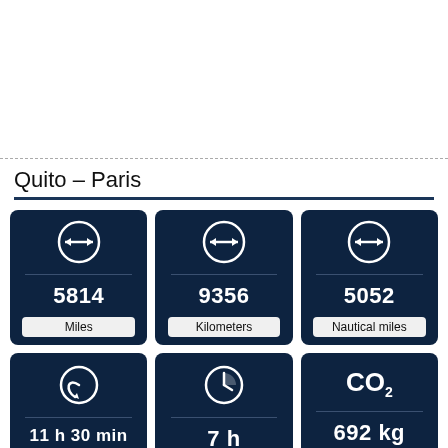Quito – Paris
[Figure (infographic): Three dark navy info cards showing distance: 5814 Miles, 9356 Kilometers, 5052 Nautical miles, each with a bidirectional arrow icon]
[Figure (infographic): Three dark navy info cards showing flight time: 11 h 30 min, 7 h, and CO2 692 kg, with clock/refresh and CO2 icons]